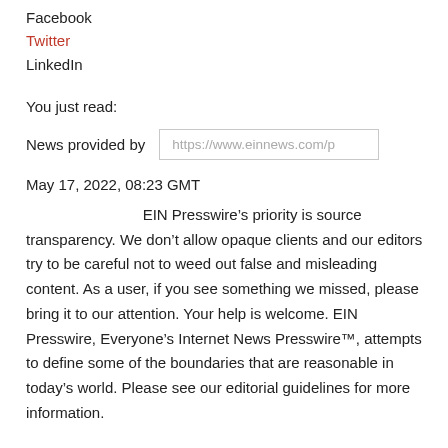Facebook
Twitter
LinkedIn
You just read:
News provided by
https://www.einnews.com/p
May 17, 2022, 08:23 GMT
EIN Presswire’s priority is source transparency. We don’t allow opaque clients and our editors try to be careful not to weed out false and misleading content. As a user, if you see something we missed, please bring it to our attention. Your help is welcome. EIN Presswire, Everyone’s Internet News Presswire™, attempts to define some of the boundaries that are reasonable in today’s world. Please see our editorial guidelines for more information.